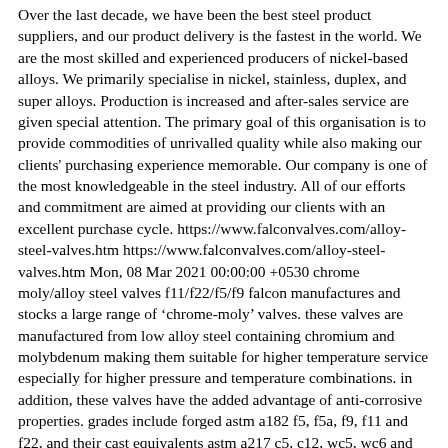Over the last decade, we have been the best steel product suppliers, and our product delivery is the fastest in the world. We are the most skilled and experienced producers of nickel-based alloys. We primarily specialise in nickel, stainless, duplex, and super alloys. Production is increased and after-sales service are given special attention. The primary goal of this organisation is to provide commodities of unrivalled quality while also making our clients' purchasing experience memorable. Our company is one of the most knowledgeable in the steel industry. All of our efforts and commitment are aimed at providing our clients with an excellent purchase cycle. https://www.falconvalves.com/alloy-steel-valves.htm https://www.falconvalves.com/alloy-steel-valves.htm Mon, 08 Mar 2021 00:00:00 +0530 chrome moly/alloy steel valves f11/f22/f5/f9 falcon manufactures and stocks a large range of &lsquo;chrome-moly&rsquo; valves. these valves are manufactured from low alloy steel containing chromium and molybdenum making them suitable for higher temperature service especially for higher pressure and temperature combinations. in addition, these valves have the added advantage of anti-corrosive properties. grades include forged astm a182 f5, f5a, f9, f11 and f22, and their cast equivalents astm a217 c5, c12, wc5, wc6 and wc9. higher grades like a112 f9/astm a217 c12a are available on an indent basis. &nbsp; types alloy steel gate valves alloy steel globe valves alloy steel check valves &nbsp; size gate valve: &frac14;&rdquo; to 48&rdquo; globe valve: &frac14;&rdquo; to 24&rdquo; check valve: &frac14;&rdquo; to 26&rdquo; &nbsp;